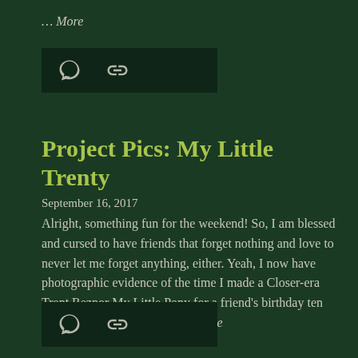… More
[Figure (other): Dark toolbar with comment bubble icon and chain link icon]
Project Pics: My Little Trenty
September 16, 2017
Alright, something fun for the weekend! So, I am blessed and cursed to have friends that forget nothing and love to never let me forget anything, either. Yeah, I now have photographic evidence of the time I made a Closer-era Trent Reznor My Little Pony for a friend's birthday ten million years ago. I would … More
[Figure (other): Dark toolbar with comment bubble icon and chain link icon]